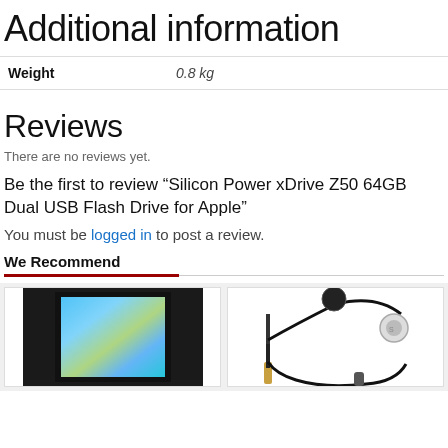Additional information
| Weight | 0.8 kg |
| --- | --- |
| Weight | 0.8 kg |
Reviews
There are no reviews yet.
Be the first to review “Silicon Power xDrive Z50 64GB Dual USB Flash Drive for Apple”
You must be logged in to post a review.
We Recommend
[Figure (photo): Product photo of a USB flash drive with a display screen showing a colorful image]
[Figure (photo): Product photo of earphones/earbuds with cable and audio jack]